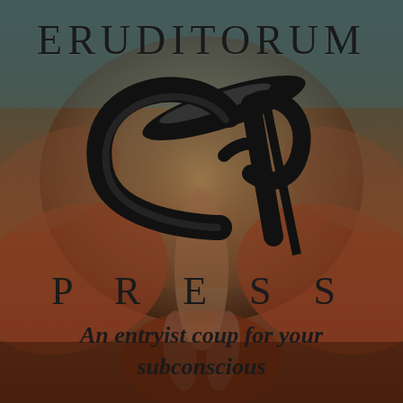[Figure (logo): Eruditorum Press logo cover page. Background is a muted dark artwork (William Blake-style figures in earthy red-brown tones with teal-grey top). Center features a large stylized 'EP' monogram in black. Text overlaid: 'ERUDITORUM' at top, 'PRESS' in spaced letters below the monogram, and italic bold tagline 'An entryist coup for your subconscious' at bottom.]
ERUDITORUM
PRESS
An entryist coup for your subconscious